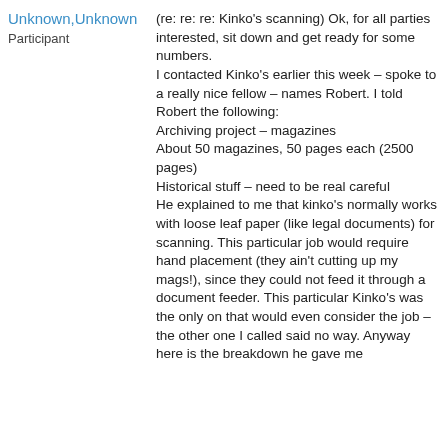Unknown,Unknown
Participant
(re: re: re: Kinko's scanning) Ok, for all parties interested, sit down and get ready for some numbers. I contacted Kinko's earlier this week – spoke to a really nice fellow – names Robert. I told Robert the following:
Archiving project – magazines
About 50 magazines, 50 pages each (2500 pages)
Historical stuff – need to be real careful
He explained to me that kinko's normally works with loose leaf paper (like legal documents) for scanning. This particular job would require hand placement (they ain't cutting up my mags!), since they could not feed it through a document feeder. This particular Kinko's was the only on that would even consider the job – the other one I called said no way. Anyway here is the breakdown he gave me